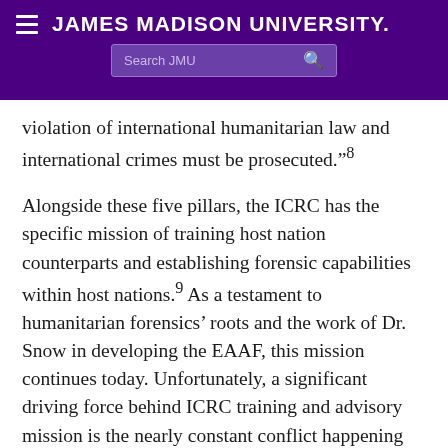JAMES MADISON UNIVERSITY.
violation of international humanitarian law and international crimes must be prosecuted."8
Alongside these five pillars, the ICRC has the specific mission of training host nation counterparts and establishing forensic capabilities within host nations.9 As a testament to humanitarian forensics’ roots and the work of Dr. Snow in developing the EAAF, this mission continues today. Unfortunately, a significant driving force behind ICRC training and advisory mission is the nearly constant conflict happening around the globe.10,11 However, the ICRC has significantly